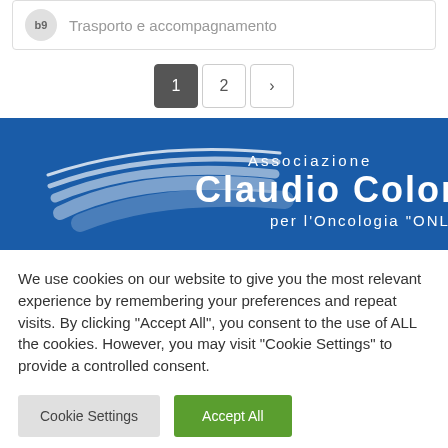Trasporto e accompagnamento
1  2  >
[Figure (logo): Associazione Claudio Colombo per l'Oncologia ONLUS logo on blue background with white swoosh lines]
We use cookies on our website to give you the most relevant experience by remembering your preferences and repeat visits. By clicking "Accept All", you consent to the use of ALL the cookies. However, you may visit "Cookie Settings" to provide a controlled consent.
Cookie Settings   Accept All